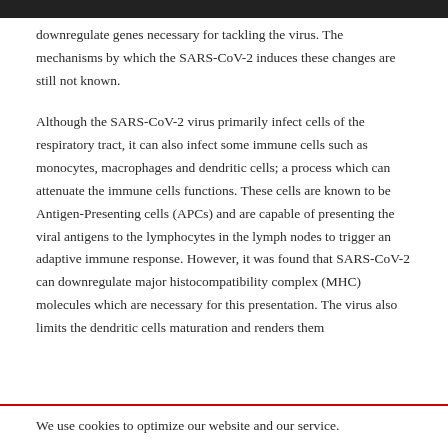downregulate genes necessary for tackling the virus. The mechanisms by which the SARS-CoV-2 induces these changes are still not known.
Although the SARS-CoV-2 virus primarily infect cells of the respiratory tract, it can also infect some immune cells such as monocytes, macrophages and dendritic cells; a process which can attenuate the immune cells functions. These cells are known to be Antigen-Presenting cells (APCs) and are capable of presenting the viral antigens to the lymphocytes in the lymph nodes to trigger an adaptive immune response. However, it was found that SARS-CoV-2 can downregulate major histocompatibility complex (MHC) molecules which are necessary for this presentation. The virus also limits the dendritic cells maturation and renders them
We use cookies to optimize our website and our service.